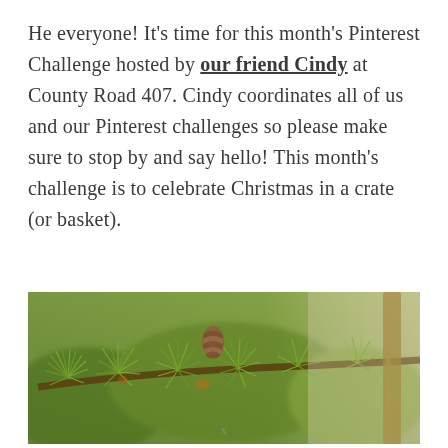He everyone! It's time for this month's Pinterest Challenge hosted by our friend Cindy at County Road 407. Cindy coordinates all of us and our Pinterest challenges so please make sure to stop by and say hello! This month's challenge is to celebrate Christmas in a crate (or basket).
[Figure (photo): Close-up photograph of green pine/fir tree branches with a pine cone, soft focus background with beige/tan tones on the right side.]
x